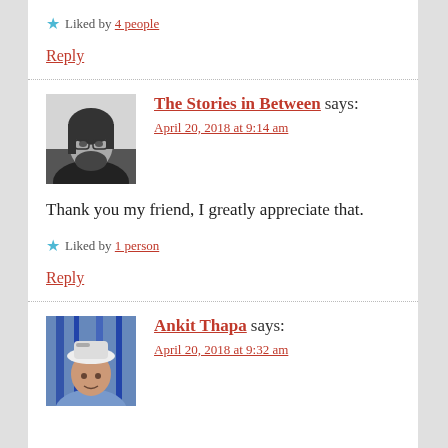★ Liked by 4 people
Reply
The Stories in Between says: April 20, 2018 at 9:14 am
Thank you my friend, I greatly appreciate that.
★ Liked by 1 person
Reply
Ankit Thapa says: April 20, 2018 at 9:32 am